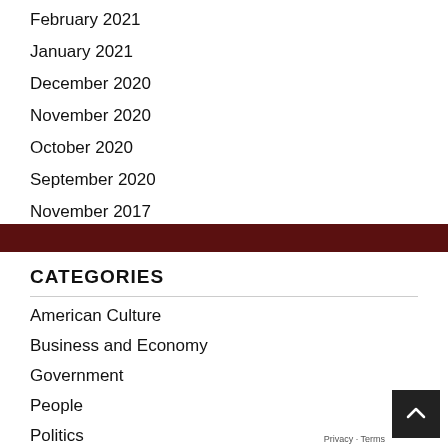February 2021
January 2021
December 2020
November 2020
October 2020
September 2020
November 2017
CATEGORIES
American Culture
Business and Economy
Government
People
Politics